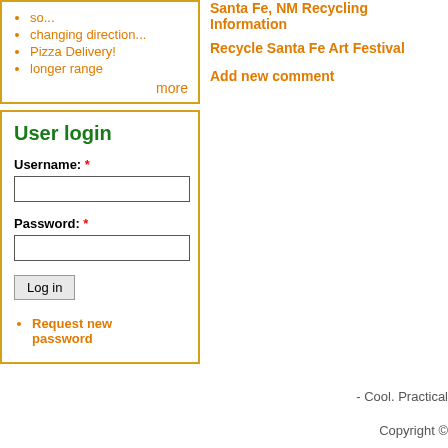so...
changing direction...
Pizza Delivery!
longer range
more
User login
Username: *
Password: *
Log in
Request new password
Santa Fe, NM Recycling Information
Recycle Santa Fe Art Festival
Add new comment
- Cool. Practical
Copyright ©